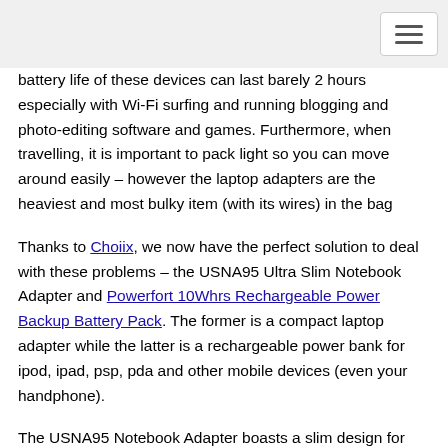battery life of these devices can last barely 2 hours especially with Wi-Fi surfing and running blogging and photo-editing software and games. Furthermore, when travelling, it is important to pack light so you can move around easily – however the laptop adapters are the heaviest and most bulky item (with its wires) in the bag
Thanks to Choiix, we now have the perfect solution to deal with these problems – the USNA95 Ultra Slim Notebook Adapter and Powerfort 10Whrs Rechargeable Power Backup Battery Pack. The former is a compact laptop adapter while the latter is a rechargeable power bank for ipod, ipad, psp, pda and other mobile devices (even your handphone).
The USNA95 Notebook Adapter boasts a slim design for easy storage and portability and it is compatible with most laptops – it doesn't matter what your laptop model is, you are provided with a colorful range of 9 charger tips which cater to almost all laptop models. Check out which